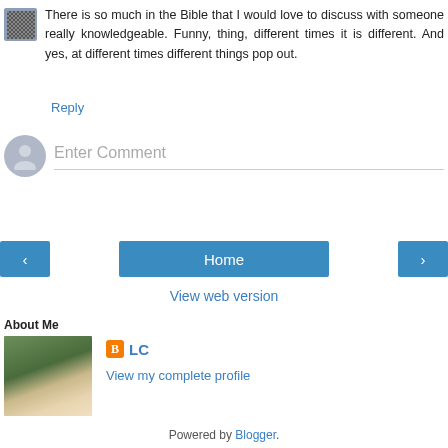There is so much in the Bible that I would love to discuss with someone really knowledgeable. Funny, thing, different times it is different. And yes, at different times different things pop out.
Reply
Enter Comment
Home
View web version
About Me
LC
View my complete profile
Powered by Blogger.